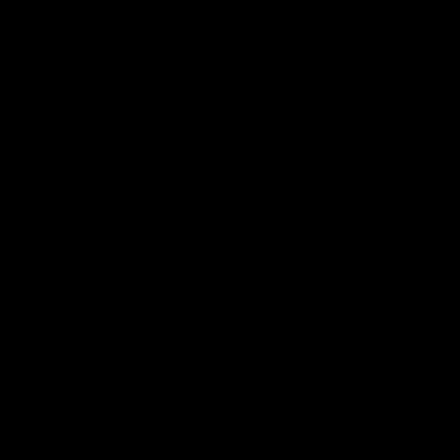as the gap is filled. (Fa are another thing, of c
---
On your 'Puck' referen imaginary creatures th (real) elves that I have MiaBellezza posting th
If desired (grin), you m that you seem to show MiaBellezza:
"Elves tend to reflect b Muslim will 'see' a terr demo
Scroll to Top